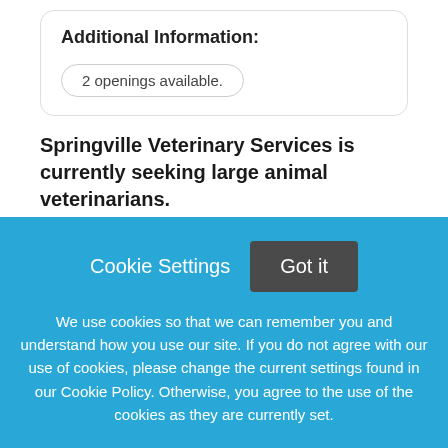Additional Information:
2 openings available.
Springville Veterinary Services is currently seeking large animal veterinarians.
A little about SVS: We are a small all-ambulatory practice based in Springville, NY 35 miles south of Buffalo NY. We cover a large area in Western New York
[Figure (screenshot): Cookie consent banner overlay with blue background. Contains 'Cookie Settings' and 'Got it' buttons, plus cookie policy text.]
We use cookies so that we can remember you and understand how you use our site. If you do not agree with our use of cookies, please change the current settings found in our Cookie Policy. Otherwise, you agree to the use of the cookies as they are currently set.